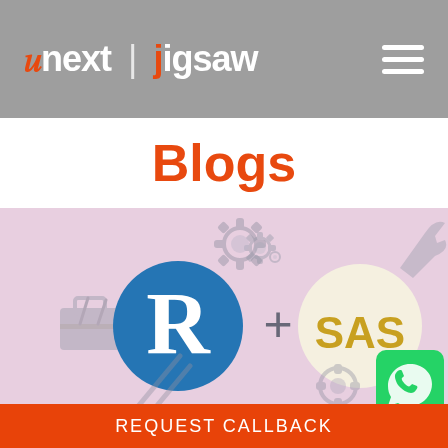unext | jigsaw
Blogs
[Figure (illustration): Illustration showing R programming logo (blue circle with white R) plus SAS logo (white circle with gold SAS text), surrounded by tool/gear icons on a pink/mauve background. WhatsApp button in bottom right corner.]
REQUEST CALLBACK